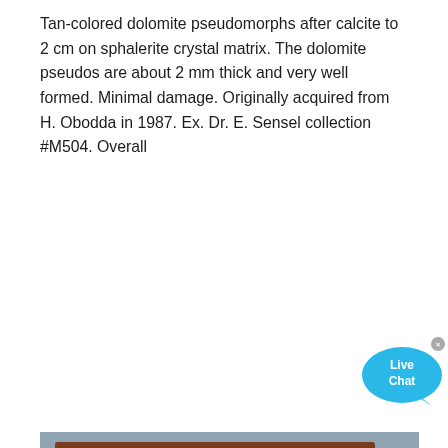Tan-colored dolomite pseudomorphs after calcite to 2 cm on sphalerite crystal matrix. The dolomite pseudos are about 2 mm thick and very well formed. Minimal damage. Originally acquired from H. Obodda in 1987. Ex. Dr. E. Sensel collection #M504. Overall
[Figure (photo): Industrial photo showing white metal equipment with black bolt holes and mechanical components, likely related to a dolomite crushing production line]
Dolomite Crushing Production Line Costs In Russia